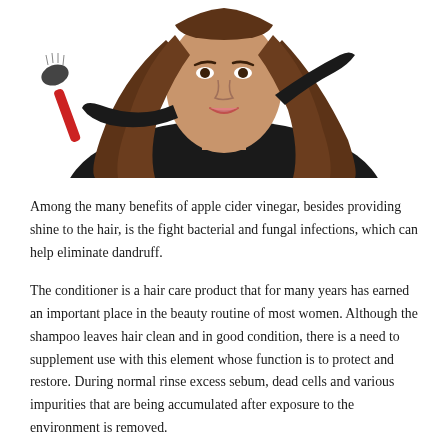[Figure (photo): A woman with long brown hair holding a red round hair brush in one hand and touching her head with the other, looking frustrated against a white background.]
Among the many benefits of apple cider vinegar, besides providing shine to the hair, is the fight bacterial and fungal infections, which can help eliminate dandruff.
The conditioner is a hair care product that for many years has earned an important place in the beauty routine of most women. Although the shampoo leaves hair clean and in good condition, there is a need to supplement use with this element whose function is to protect and restore. During normal rinse excess sebum, dead cells and various impurities that are being accumulated after exposure to the environment is removed.
However, the cuticles are a little swollen and leave the hair susceptible to damage by free radicals and heat. This is exactly where